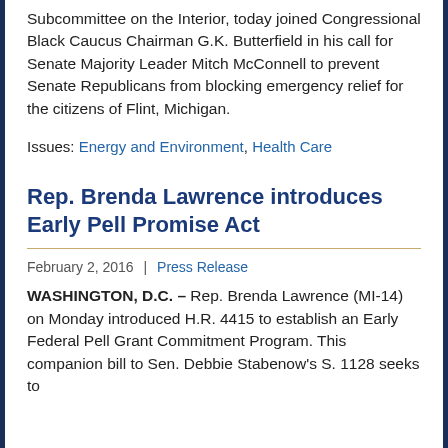Subcommittee on the Interior, today joined Congressional Black Caucus Chairman G.K. Butterfield in his call for Senate Majority Leader Mitch McConnell to prevent Senate Republicans from blocking emergency relief for the citizens of Flint, Michigan.
Issues: Energy and Environment, Health Care
Rep. Brenda Lawrence introduces Early Pell Promise Act
February 2, 2016 | Press Release
WASHINGTON, D.C. – Rep. Brenda Lawrence (MI-14) on Monday introduced H.R. 4415 to establish an Early Federal Pell Grant Commitment Program. This companion bill to Sen. Debbie Stabenow's S. 1128 seeks to